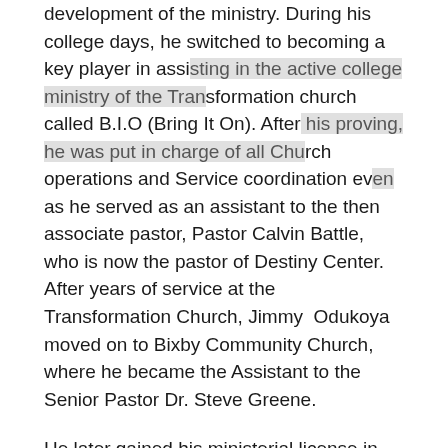development of the ministry. During his college days, he switched to becoming a key player in assisting in the active college ministry of the Transformation church called B.I.O (Bring It On). After his proving, he was put in charge of all Church operations and Service coordination even as he served as an assistant to the then associate pastor, Pastor Calvin Battle, who is now the pastor of Destiny Center. After years of service at the Transformation Church, Jimmy  Odukoya moved on to Bixby Community Church, where he became the Assistant to the Senior Pastor Dr. Steve Greene.
He later gained his ministerial license in 2009. In the same year, he was ordained Pastor at Fountain Of Life Church, a church founded by his father, Taiwo Odukoya. Jimmy Oduokya was made the